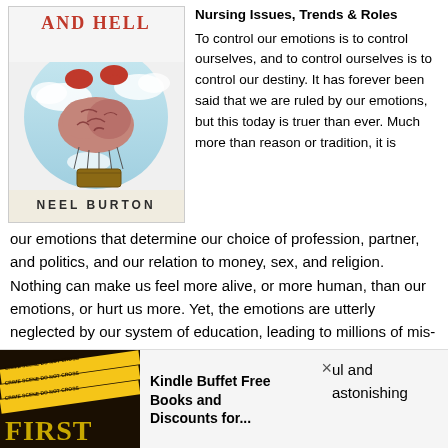Nursing Issues, Trends & Roles
[Figure (illustration): Book cover showing a brain floating like a hot air balloon in a cloudy sky, with red hands at the top. Author name: NEEL BURTON at the bottom.]
To control our emotions is to control ourselves, and to control ourselves is to control our destiny. It has forever been said that we are ruled by our emotions, but this today is truer than ever. Much more than reason or tradition, it is our emotions that determine our choice of profession, partner, and politics, and our relation to money, sex, and religion. Nothing can make us feel more alive, or more human, than our emotions, or hurt us more. Yet, the emotions are utterly neglected by our system of education, leading to millions of mis-lived lives.
This book proposes to redress the balance, exploring over
ul and astonishing
[Figure (screenshot): Notification bar at the bottom showing a crime scene book thumbnail on the left and text 'Kindle Buffet Free Books and Discounts for...' with a close X button]
Kindle Buffet Free Books and Discounts for...